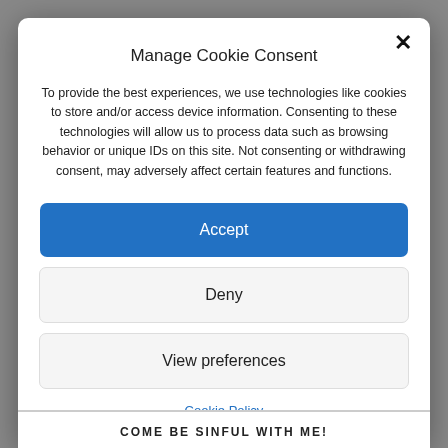Manage Cookie Consent
To provide the best experiences, we use technologies like cookies to store and/or access device information. Consenting to these technologies will allow us to process data such as browsing behavior or unique IDs on this site. Not consenting or withdrawing consent, may adversely affect certain features and functions.
Accept
Deny
View preferences
Cookie Policy
COME BE SINFUL WITH ME!